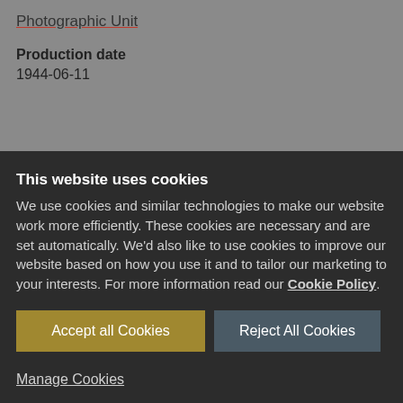Photographic Unit
Production date
1944-06-11
This website uses cookies
We use cookies and similar technologies to make our website work more efficiently. These cookies are necessary and are set automatically. We'd also like to use cookies to improve our website based on how you use it and to tailor our marketing to your interests. For more information read our Cookie Policy.
Accept all Cookies
Reject All Cookies
Manage Cookies